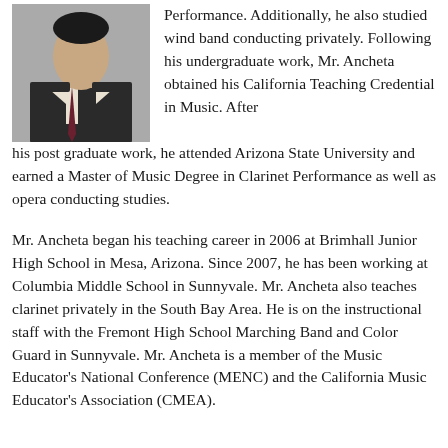[Figure (photo): Headshot photo of Mr. Ancheta, a man in a dark suit and dark red tie, against a light background.]
Performance. Additionally, he also studied wind band conducting privately. Following his undergraduate work, Mr. Ancheta obtained his California Teaching Credential in Music. After his post graduate work, he attended Arizona State University and earned a Master of Music Degree in Clarinet Performance as well as opera conducting studies.
Mr. Ancheta began his teaching career in 2006 at Brimhall Junior High School in Mesa, Arizona. Since 2007, he has been working at Columbia Middle School in Sunnyvale. Mr. Ancheta also teaches clarinet privately in the South Bay Area. He is on the instructional staff with the Fremont High School Marching Band and Color Guard in Sunnyvale. Mr. Ancheta is a member of the Music Educator's National Conference (MENC) and the California Music Educator's Association (CMEA).